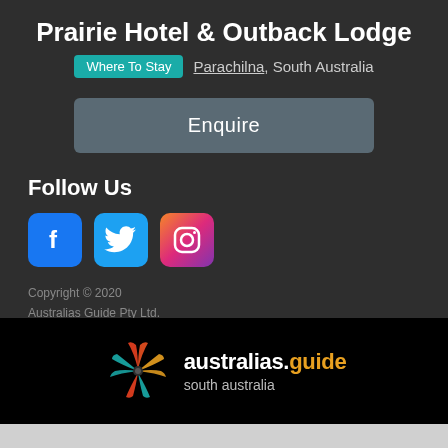Prairie Hotel & Outback Lodge
Where To Stay  Parachilna, South Australia
Enquire
Follow Us
[Figure (other): Social media icons: Facebook, Twitter, Instagram]
Copyright © 2020
Australias Guide Pty Ltd.
[Figure (logo): australias.guide south australia logo with colorful kangaroo paw icon]